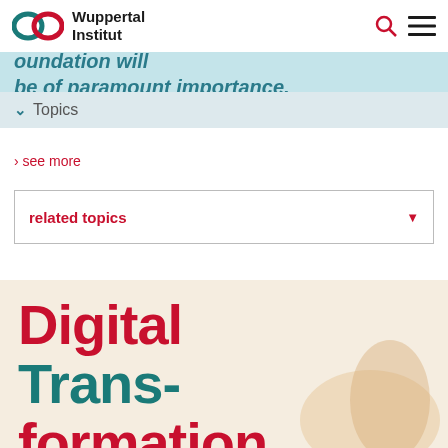Wuppertal Institut
transition to a sustainable society. Open search provision. Science and innovation will be of paramount importance.
Topics
› see more
related topics
Digital Transformation